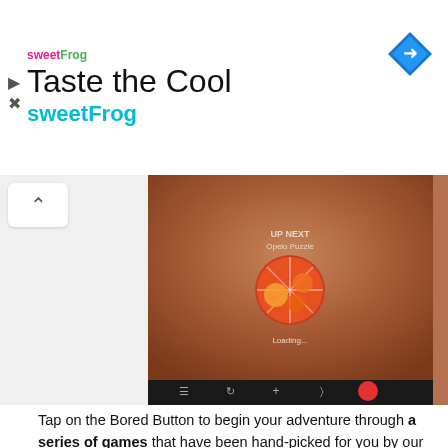[Figure (screenshot): Advertisement banner for sweetFrog with logo, 'Taste the Cool' heading, 'sweetFrog' subtitle in teal, and a blue navigation diamond icon on the right. Play and close icons visible on the left.]
[Figure (screenshot): Mobile app screenshots showing a game loading screen with 'UP NEXT Opeio Puzzle' text, a circular game thumbnail, and 'Loading...' text on a brownish-red background. Bottom toolbar with icons including a red record button.]
Tap on the Bored Button to begin your adventure through a series of games that have been hand-picked for you by our team. In order to keep you entertained, each and every game will run its own set of characteristics. After the turn of a...